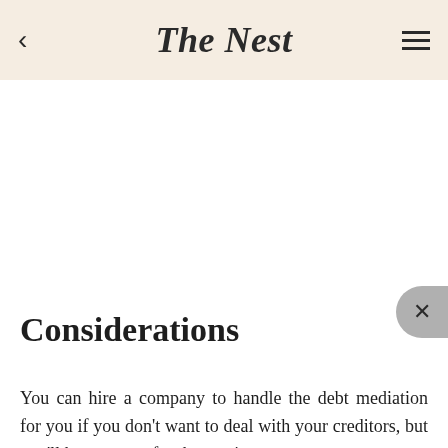The Nest
Considerations
You can hire a company to handle the debt mediation for you if you don't want to deal with your creditors, but you'll have to pay for the service